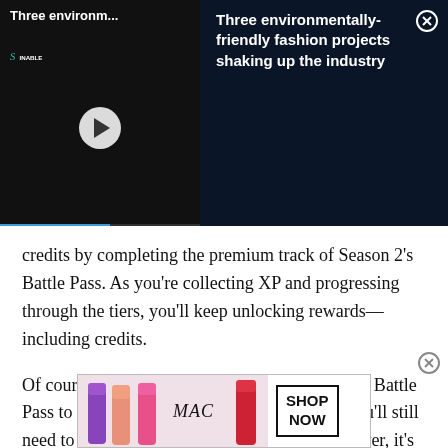[Figure (screenshot): Top banner ad showing a video player on the left with 'Three environm...' title and a sustainable fashion logo, and text on the right reading 'Three environmentally-friendly fashion projects shaking up the industry' with a close button]
credits by completing the premium track of Season 2's Battle Pass. As you're collecting XP and progressing through the tiers, you'll keep unlocking rewards—including credits.
Of course, you first need to purchase the current Battle Pass to take advantage of this offer. For that, you'll still need to spend real money for the credits. However, it's another reason to fix your
[Figure (screenshot): Bottom advertisement banner for MAC cosmetics showing lipsticks and a 'SHOP NOW' button]